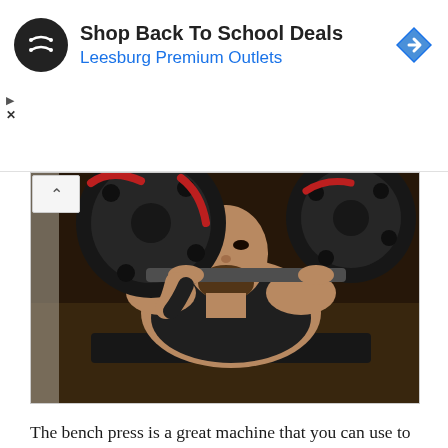[Figure (other): Advertisement banner: black circular logo with overlapping arrow icon, title 'Shop Back To School Deals', subtitle 'Leesburg Premium Outlets' in blue, blue diamond arrow icon on right, play and X controls on left]
[Figure (photo): A muscular man lying on a bench press lifting a heavy barbell with large black and red weight plates, wearing a black tank top, photographed from above in a gym.]
The bench press is a great machine that you can use to work out your chest. It is excellent for beginners and can be a nice tool you can use to boost your chest’s strength.